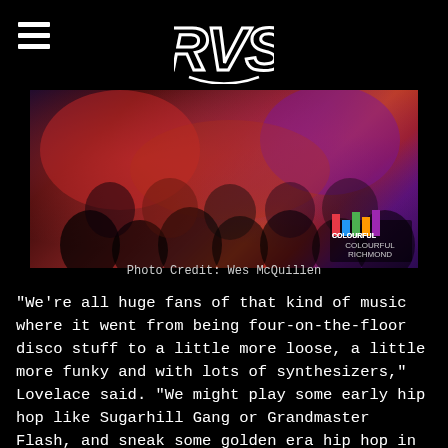RVS logo with hamburger menu
[Figure (photo): Crowded nightclub dance floor with purple and red lighting, people dancing, DJ equipment visible on the left, Colorful Richmond watermark in bottom right corner]
Photo Credit: Wes McQuillen
“We’re all huge fans of that kind of music where it went from being four-on-the-floor disco stuff to a little more loose, a little more funky and with lots of synthesizers,” Lovelace said. “We might play some early hip hop like Sugarhill Gang or Grandmaster Flash, and sneak some golden era hip hop in there. It’s all in that wheelhouse, the feel-good 80’s funky stuff.”